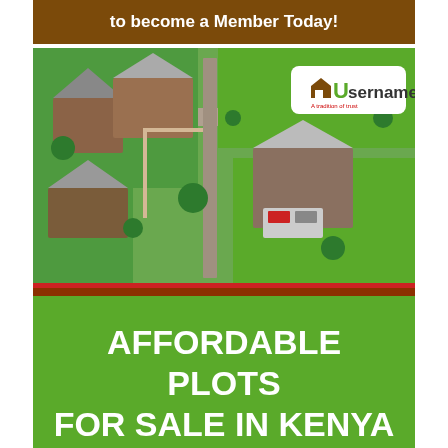to become a Member Today!
[Figure (photo): Aerial view of a residential neighborhood with houses, green lawns, paved roads, and parked vehicles. A 'Username – A tradition of trust' logo badge is visible in the upper right corner of the image.]
AFFORDABLE PLOTS FOR SALE IN KENYA
HOMELAND 254